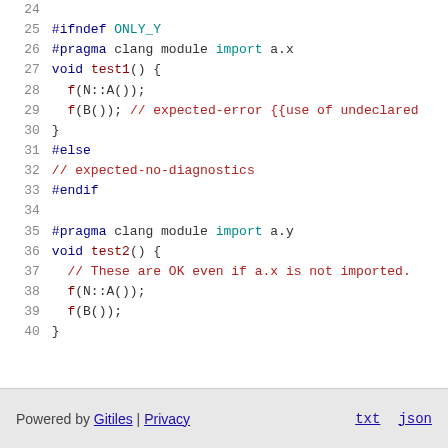[Figure (screenshot): Source code listing showing C++ code with line numbers 24-40, featuring preprocessor directives (#ifndef, #pragma, #else, #endif), function definitions (test1, test2), and comments including expected-error and expected-no-diagnostics annotations.]
Powered by Gitiles | Privacy    txt  json